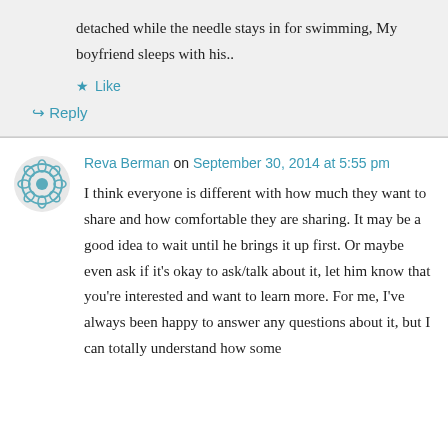detached while the needle stays in for swimming, My boyfriend sleeps with his..
★ Like
↳ Reply
Reva Berman on September 30, 2014 at 5:55 pm
I think everyone is different with how much they want to share and how comfortable they are sharing. It may be a good idea to wait until he brings it up first. Or maybe even ask if it's okay to ask/talk about it, let him know that you're interested and want to learn more. For me, I've always been happy to answer any questions about it, but I can totally understand how some